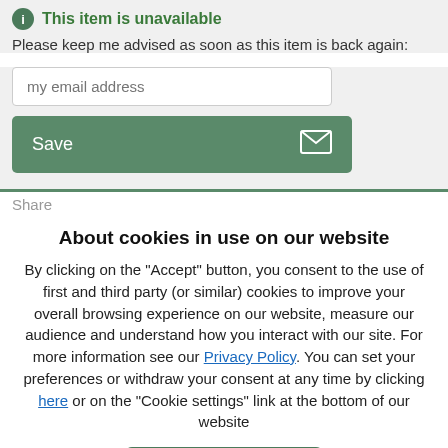This item is unavailable
Please keep me advised as soon as this item is back again:
[Figure (screenshot): Email input field with placeholder 'my email address']
[Figure (screenshot): Green Save button with envelope icon]
Share
About cookies in use on our website
By clicking on the "Accept" button, you consent to the use of first and third party (or similar) cookies to improve your overall browsing experience on our website, measure our audience and understand how you interact with our site. For more information see our Privacy Policy. You can set your preferences or withdraw your consent at any time by clicking here or on the "Cookie settings" link at the bottom of our website
I accept
Refuse